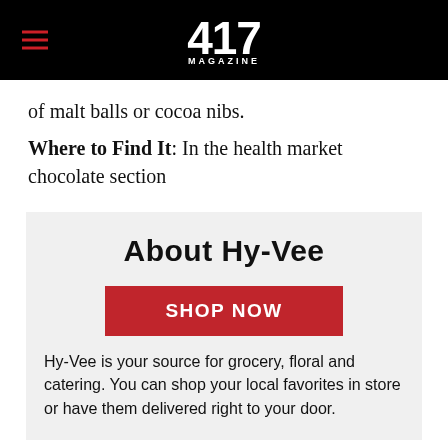417 MAGAZINE
of malt balls or cocoa nibs.
Where to Find It: In the health market chocolate section
About Hy-Vee
SHOP NOW
Hy-Vee is your source for grocery, floral and catering. You can shop your local favorites in store or have them delivered right to your door.